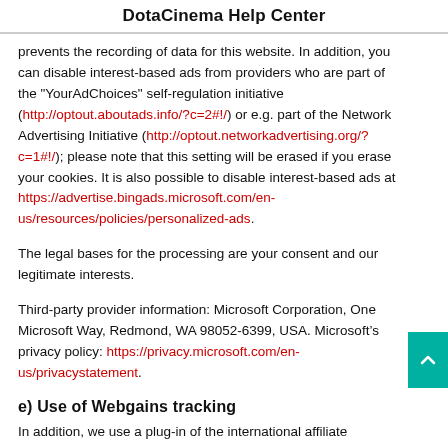DotaCinema Help Center
prevents the recording of data for this website. In addition, you can disable interest-based ads from providers who are part of the "YourAdChoices" self-regulation initiative (http://optout.aboutads.info/?c=2#!/) or e.g. part of the Network Advertising Initiative (http://optout.networkadvertising.org/?c=1#!/); please note that this setting will be erased if you erase your cookies. It is also possible to disable interest-based ads at https://advertise.bingads.microsoft.com/en-us/resources/policies/personalized-ads.
The legal bases for the processing are your consent and our legitimate interests.
Third-party provider information: Microsoft Corporation, One Microsoft Way, Redmond, WA 98052-6399, USA. Microsoft’s privacy policy: https://privacy.microsoft.com/en-us/privacystatement.
e) Use of Webgains tracking
In addition, we use a plug-in of the international affiliate network